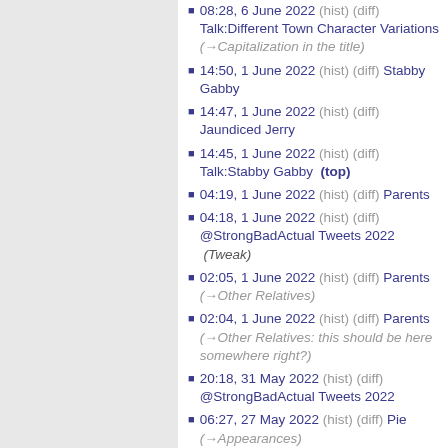08:28, 6 June 2022 (hist) (diff) Talk:Different Town Character Variations (→Capitalization in the title)
14:50, 1 June 2022 (hist) (diff) Stabby Gabby
14:47, 1 June 2022 (hist) (diff) Jaundiced Jerry
14:45, 1 June 2022 (hist) (diff) Talk:Stabby Gabby (top)
04:19, 1 June 2022 (hist) (diff) Parents
04:18, 1 June 2022 (hist) (diff) @StrongBadActual Tweets 2022 (Tweak)
02:05, 1 June 2022 (hist) (diff) Parents (→Other Relatives)
02:04, 1 June 2022 (hist) (diff) Parents (→Other Relatives: this should be here somewhere right?)
20:18, 31 May 2022 (hist) (diff) @StrongBadActual Tweets 2022
06:27, 27 May 2022 (hist) (diff) Pie (→Appearances)
06:22, 27 May 2022 (hist) (diff) @StrongBadActual Tweets 2022 (Reetyu)